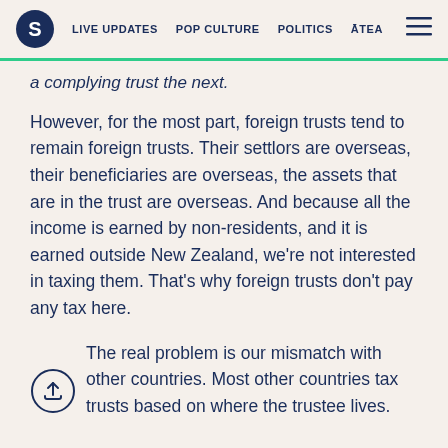S  LIVE UPDATES  POP CULTURE  POLITICS  ĀTEA
a complying trust the next.
However, for the most part, foreign trusts tend to remain foreign trusts. Their settlors are overseas, their beneficiaries are overseas, the assets that are in the trust are overseas. And because all the income is earned by non-residents, and it is earned outside New Zealand, we're not interested in taxing them. That's why foreign trusts don't pay any tax here.
The real problem is our mismatch with other countries. Most other countries tax trusts based on where the trustee lives.